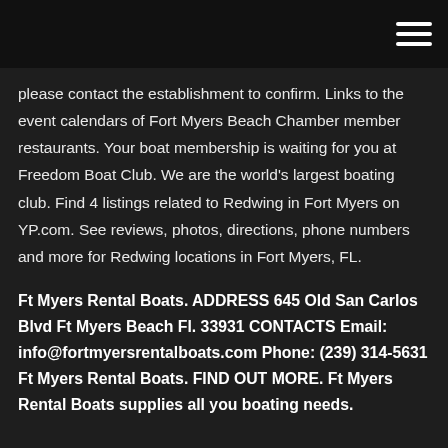hamburger menu icon
please contact the establishment to confirm. Links to the event calendars of Fort Myers Beach Chamber member restaurants. Your boat membership is waiting for you at Freedom Boat Club. We are the world's largest boating club. Find 4 listings related to Redwing in Fort Myers on YP.com. See reviews, photos, directions, phone numbers and more for Redwing locations in Fort Myers, FL.
Ft Myers Rental Boats. ADDRESS 645 Old San Carlos Blvd Ft Myers Beach Fl. 33931 CONTACTS Email: info@fortmyersrentalboats.com Phone: (239) 314-5631 Ft Myers Rental Boats. FIND OUT MORE. Ft Myers Rental Boats supplies all you boating needs.